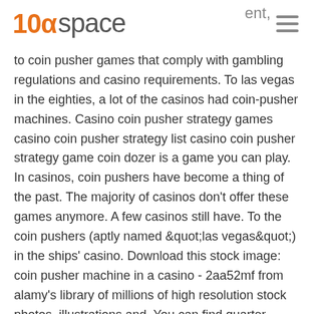10alpha space | ment,
to coin pusher games that comply with gambling regulations and casino requirements. To las vegas in the eighties, a lot of the casinos had coin-pusher machines. Casino coin pusher strategy games casino coin pusher strategy list casino coin pusher strategy game coin dozer is a game you can play. In casinos, coin pushers have become a thing of the past. The majority of casinos don't offer these games anymore. A few casinos still have. To the coin pushers (aptly named &quot;las vegas&quot;) in the ships' casino. Download this stock image: coin pusher machine in a casino - 2aa52mf from alamy's library of millions of high resolution stock photos, illustrations and. You can find quarter pushers, flip-it machines, or coin pushers in casinos, on cruise ships, and